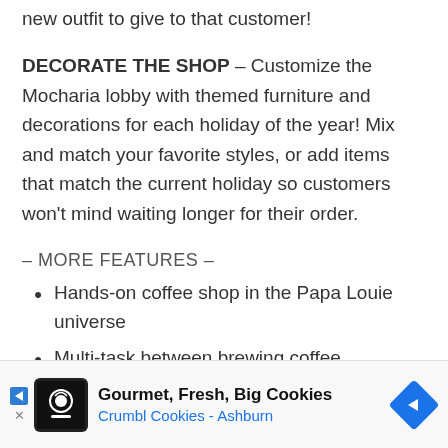new outfit to give to that customer!
DECORATE THE SHOP – Customize the Mocharia lobby with themed furniture and decorations for each holiday of the year! Mix and match your favorite styles, or add items that match the current holiday so customers won't mind waiting longer for their order.
– MORE FEATURES –
Hands-on coffee shop in the Papa Louie universe
Multi-task between brewing coffee, steaming milk, layering drinks, and crafting cannoli
Custom chefs and drivers
12 separate holidays to unlock, each with more
[Figure (infographic): Advertisement banner for Crumbl Cookies - Ashburn with logo, text 'Gourmet, Fresh, Big Cookies' and blue arrow/diamond icon]